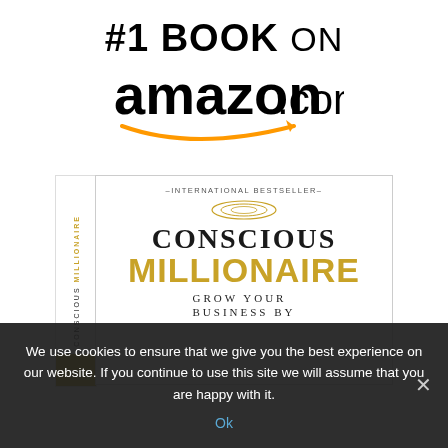#1 BOOK ON amazon.com
[Figure (photo): Book cover of 'Conscious Millionaire' with tagline 'International Bestseller', showing the title 'CONSCIOUS MILLIONAIRE' and subtitle 'GROW YOUR BUSINESS BY...' with a book spine showing gold coloring]
We use cookies to ensure that we give you the best experience on our website. If you continue to use this site we will assume that you are happy with it.
Ok